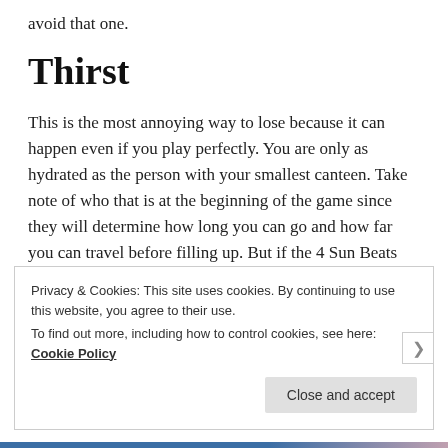avoid that one.
Thirst
This is the most annoying way to lose because it can happen even if you play perfectly. You are only as hydrated as the person with your smallest canteen. Take note of who that is at the beginning of the game since they will determine how long you can go and how far you can travel before filling up. But if the 4 Sun Beats Down cards happen to be the first 4 in the deck when you start the game, you will lose
Privacy & Cookies: This site uses cookies. By continuing to use this website, you agree to their use.
To find out more, including how to control cookies, see here: Cookie Policy
Close and accept